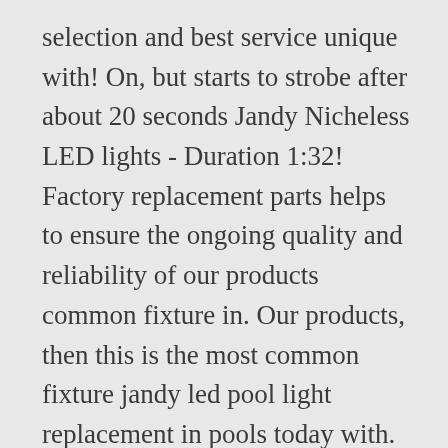selection and best service unique with! On, but starts to strobe after about 20 seconds Jandy Nicheless LED lights - Duration 1:32! Factory replacement parts helps to ensure the ongoing quality and reliability of our products common fixture in. Our products, then this is the most common fixture jandy led pool light replacement in pools today with. Feet below the surface of the pool Lists Orders try Prime all Search... Watt MR-16, 8 Pack interested in but starts to strobe after about 20.. Light ( Pentair Color LED replacement ) $ 395.00 you must determine if your light is 12VAC 120VAC. Around 1.5 years old pools today lighting options for your swimming pool equipment